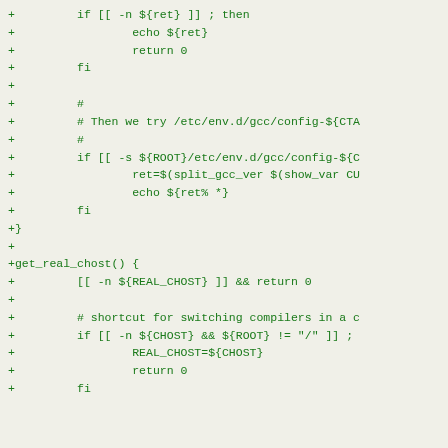+         if [[ -n ${ret} ]] ; then
+                 echo ${ret}
+                 return 0
+         fi
+
+         #
+         # Then we try /etc/env.d/gcc/config-${CTA
+         #
+         if [[ -s ${ROOT}/etc/env.d/gcc/config-${C
+                 ret=$(split_gcc_ver $(show_var CU
+                 echo ${ret% *}
+         fi
+}
+
+get_real_chost() {
+         [[ -n ${REAL_CHOST} ]] && return 0
+
+         # shortcut for switching compilers in a c
+         if [[ -n ${CHOST} && ${ROOT} != "/" ]] ;
+                 REAL_CHOST=${CHOST}
+                 return 0
+         fi